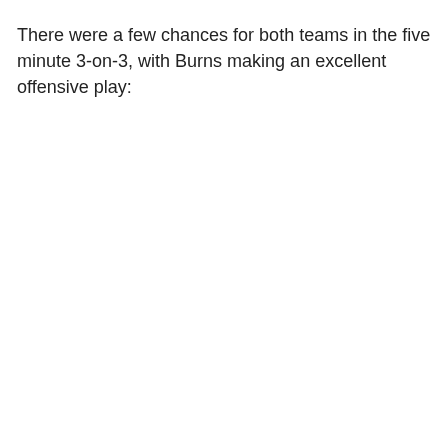There were a few chances for both teams in the five minute 3-on-3, with Burns making an excellent offensive play: